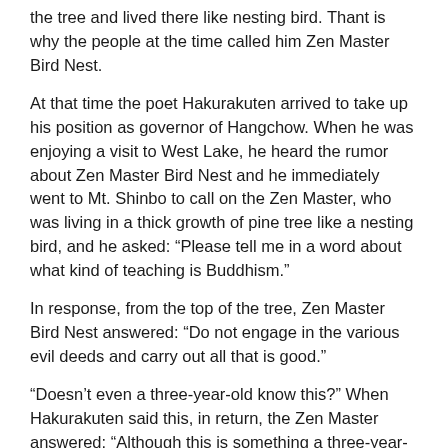the tree and lived there like nesting bird. Thant is why the people at the time called him Zen Master Bird Nest.
At that time the poet Hakurakuten arrived to take up his position as governor of Hangchow. When he was enjoying a visit to West Lake, he heard the rumor about Zen Master Bird Nest and he immediately went to Mt. Shinbo to call on the Zen Master, who was living in a thick growth of pine tree like a nesting bird, and he asked: “Please tell me in a word about what kind of teaching is Buddhism.”
In response, from the top of the tree, Zen Master Bird Nest answered: “Do not engage in the various evil deeds and carry out all that is good.”
“Doesn’t even a three-year-old know this?” When Hakurakuten said this, in return, the Zen Master answered: “Although this is something a three-year-old knows, even an old man of eighty years cannot carry this out.”
Hakurakuten, who was accomplished in learning and virtue, bowed his head to the teaching of the Zen Master. And from that time on he established a closer relationship with the Zen Master.